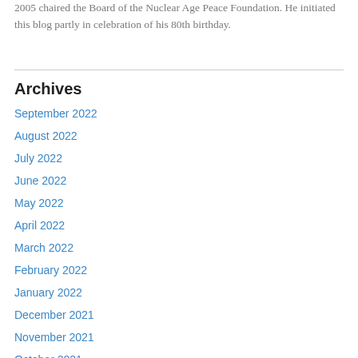2005 chaired the Board of the Nuclear Age Peace Foundation. He initiated this blog partly in celebration of his 80th birthday.
Archives
September 2022
August 2022
July 2022
June 2022
May 2022
April 2022
March 2022
February 2022
January 2022
December 2021
November 2021
October 2021
September 2021
August 2021